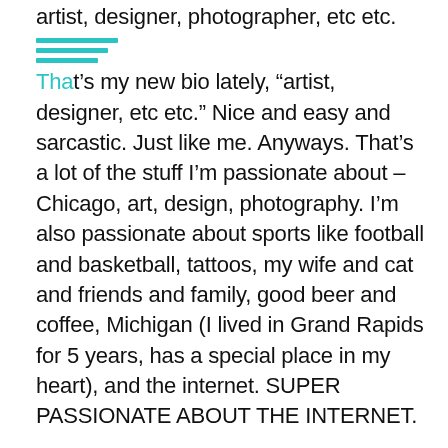artist, designer, photographer, etc etc. That's my new bio lately, "artist, designer, etc etc." Nice and easy and sarcastic. Just like me. Anyways. That's a lot of the stuff I'm passionate about – Chicago, art, design, photography. I'm also passionate about sports like football and basketball, tattoos, my wife and cat and friends and family, good beer and coffee, Michigan (I lived in Grand Rapids for 5 years, has a special place in my heart), and the internet. SUPER PASSIONATE ABOUT THE INTERNET.